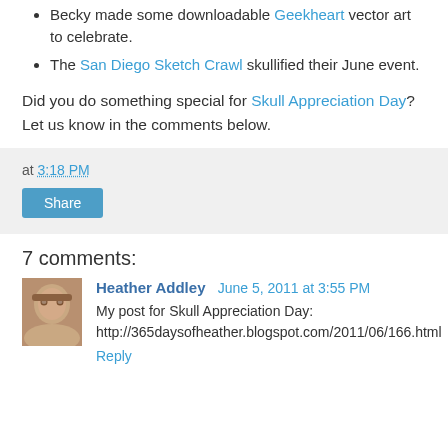Becky made some downloadable Geekheart vector art to celebrate.
The San Diego Sketch Crawl skullified their June event.
Did you do something special for Skull Appreciation Day? Let us know in the comments below.
at 3:18 PM
Share
7 comments:
Heather Addley June 5, 2011 at 3:55 PM
My post for Skull Appreciation Day: http://365daysofheather.blogspot.com/2011/06/166.html
Reply